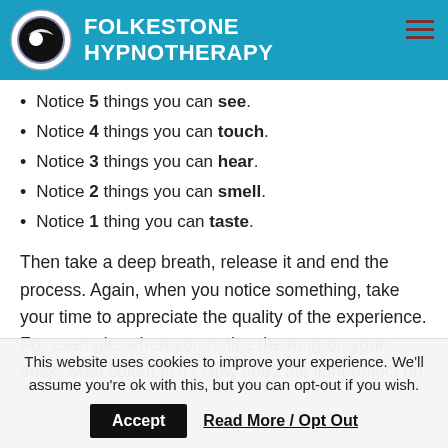FOLKESTONE HYPNOTHERAPY
Notice 5 things you can see.
Notice 4 things you can touch.
Notice 3 things you can hear.
Notice 2 things you can smell.
Notice 1 thing you can taste.
Then take a deep breath, release it and end the process. Again, when you notice something, take your time to appreciate the quality of the experience. For example, when you notice the mug on your desk, what colour is it? How does the light reflect on it? Any nuance of texture? Is there
This website uses cookies to improve your experience. We'll assume you're ok with this, but you can opt-out if you wish.
Accept   Read More / Opt Out